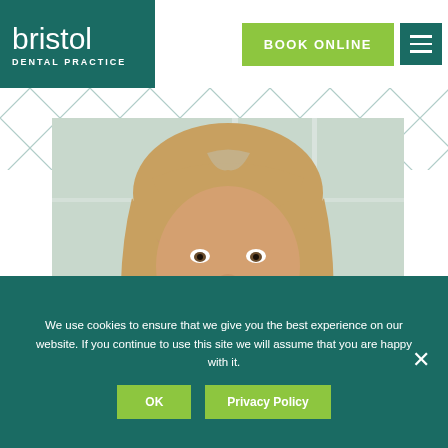[Figure (logo): Bristol Dental Practice logo — white text on dark teal background]
[Figure (other): Book Online green button and teal hamburger menu icon in header]
[Figure (photo): Portrait photo of a smiling middle-aged woman with blonde hair in a dental practice setting]
We use cookies to ensure that we give you the best experience on our website. If you continue to use this site we will assume that you are happy with it.
OK
Privacy Policy